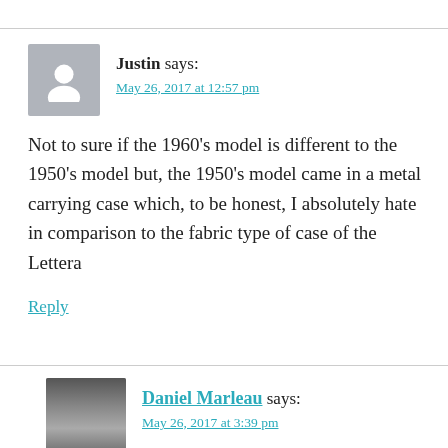Justin says:
May 26, 2017 at 12:57 pm
Not to sure if the 1960's model is different to the 1950's model but, the 1950's model came in a metal carrying case which, to be honest, I absolutely hate in comparison to the fabric type of case of the Lettera
Reply
Daniel Marleau says:
May 26, 2017 at 3:39 pm